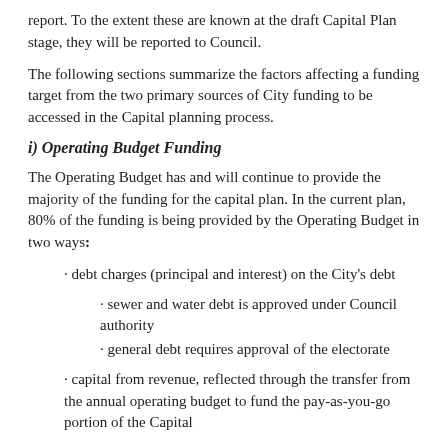report. To the extent these are known at the draft Capital Plan stage, they will be reported to Council.
The following sections summarize the factors affecting a funding target from the two primary sources of City funding to be accessed in the Capital planning process.
i) Operating Budget Funding
The Operating Budget has and will continue to provide the majority of the funding for the capital plan. In the current plan, 80% of the funding is being provided by the Operating Budget in two ways:
· debt charges (principal and interest) on the City's debt
· sewer and water debt is approved under Council authority
· general debt requires approval of the electorate
· capital from revenue, reflected through the transfer from the annual operating budget to fund the pay-as-you-go portion of the Capital